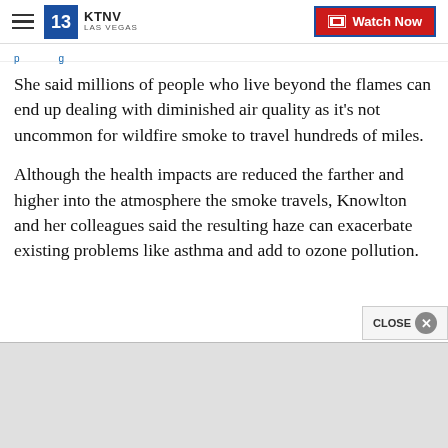KTNV LAS VEGAS — Watch Now
She said millions of people who live beyond the flames can end up dealing with diminished air quality as it's not uncommon for wildfire smoke to travel hundreds of miles.
Although the health impacts are reduced the farther and higher into the atmosphere the smoke travels, Knowlton and her colleagues said the resulting haze can exacerbate existing problems like asthma and add to ozone pollution.